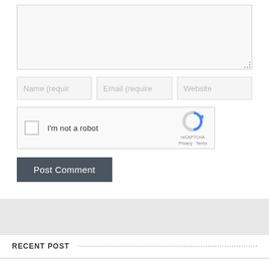[Figure (screenshot): Textarea input field (comment box) with dotted resize handle at bottom-right, light grey background]
[Figure (screenshot): Three input fields side by side: Name (required), Email (required), Website — all light grey with placeholder text]
[Figure (screenshot): reCAPTCHA widget box with checkbox, 'I'm not a robot' label, reCAPTCHA logo, Privacy and Terms links]
[Figure (screenshot): Post Comment button with dark grey (#4a555f) background and white text]
RECENT POST